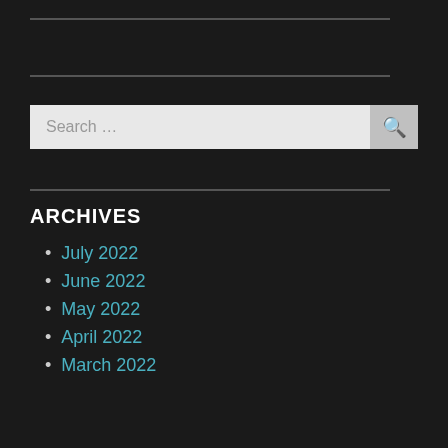Search ...
ARCHIVES
July 2022
June 2022
May 2022
April 2022
March 2022